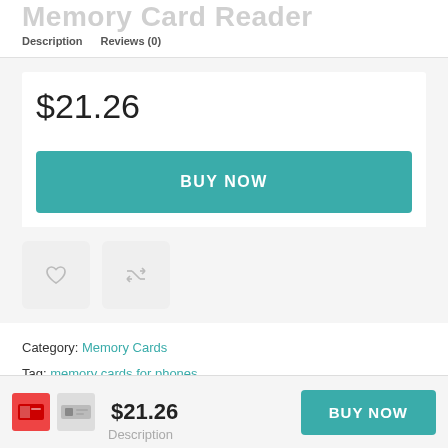Memory Card Reader
Description   Reviews (0)
$21.26
BUY NOW
[Figure (illustration): Heart (wishlist) icon button and compare/shuffle arrows icon button]
Category: Memory Cards
Tag: memory cards for phones
[Figure (illustration): Social share buttons: Facebook, Twitter, Pinterest, Email]
[Figure (illustration): Sticky bottom bar with product thumbnail images, price $21.26, BUY NOW button, and Description label]